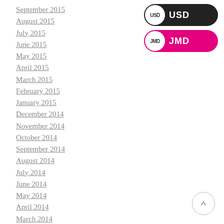September 2015
August 2015
July 2015
June 2015
May 2015
April 2015
March 2015
February 2015
January 2015
December 2014
November 2014
October 2014
September 2014
August 2014
July 2014
June 2014
May 2014
April 2014
March 2014
February 2014
January 2014
[Figure (infographic): USD currency selector button (dark/black pill shape with white circle containing USD label) and JMD currency selector button (pink/magenta pill shape with white circle containing JMD label)]
[Figure (infographic): Scroll-to-top circular button with upward arrow]